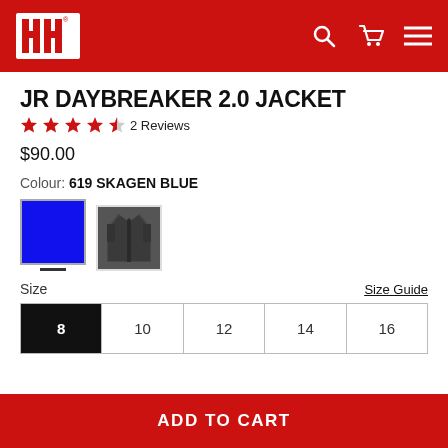HH (Helly Hansen) navigation header with logo, search, cart, and menu icons
JR DAYBREAKER 2.0 JACKET
★★★★½ 2 Reviews
$90.00
Colour: 619 SKAGEN BLUE
[Figure (photo): Two color swatches: a solid blue rectangle (selected, with underline indicator) and a dark navy fleece jacket thumbnail]
Size
Size Guide
| 8 | 10 | 12 | 14 | 16 |
| --- | --- | --- | --- | --- |
| 8 (selected) | 10 | 12 | 14 | 16 |
ADD TO CART